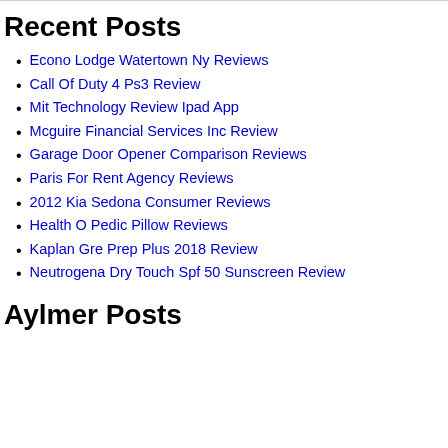Recent Posts
Econo Lodge Watertown Ny Reviews
Call Of Duty 4 Ps3 Review
Mit Technology Review Ipad App
Mcguire Financial Services Inc Review
Garage Door Opener Comparison Reviews
Paris For Rent Agency Reviews
2012 Kia Sedona Consumer Reviews
Health O Pedic Pillow Reviews
Kaplan Gre Prep Plus 2018 Review
Neutrogena Dry Touch Spf 50 Sunscreen Review
Aylmer Posts